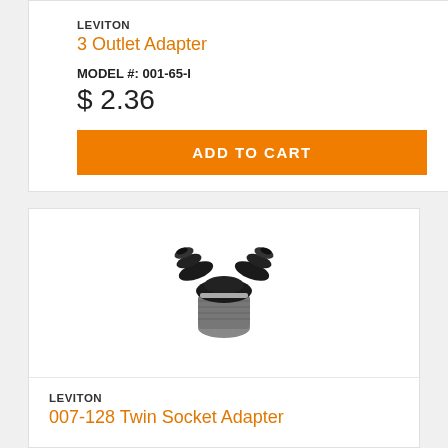LEVITON
3 Outlet Adapter
MODEL #: 001-65-I
$ 2.36
ADD TO CART
[Figure (photo): Black Leviton twin socket adapter / bulb splitter with silver threaded base, photographed on white background]
LEVITON
007-128 Twin Socket Adapter